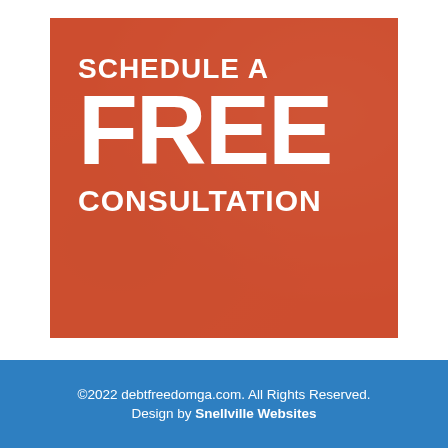[Figure (infographic): Promotional banner on a coral/orange-red background with faint photo of hands and paper. White bold text reads: SCHEDULE A FREE CONSULTATION]
©2022 debtfreedomga.com. All Rights Reserved. Design by Snellville Websites